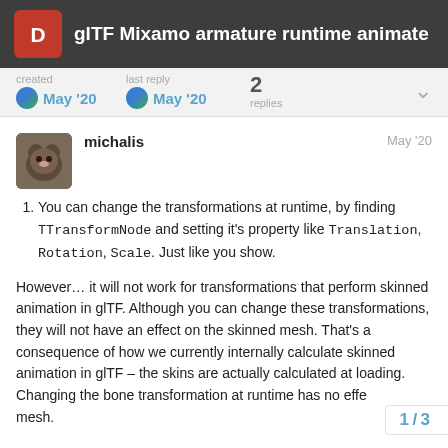glTF Mixamo armature runtime animate
created May '20   last reply May '20   2 replies
michalis   May '20
You can change the transformations at runtime, by finding TTransformNode and setting it's property like Translation, Rotation, Scale. Just like you show.
However… it will not work for transformations that perform skinned animation in glTF. Although you can change these transformations, they will not have an effect on the skinned mesh. That's a consequence of how we currently internally calculate skinned animation in glTF – the skins are actually calculated at loading. Changing the bone transformation at runtime has no effe mesh.
1 / 3